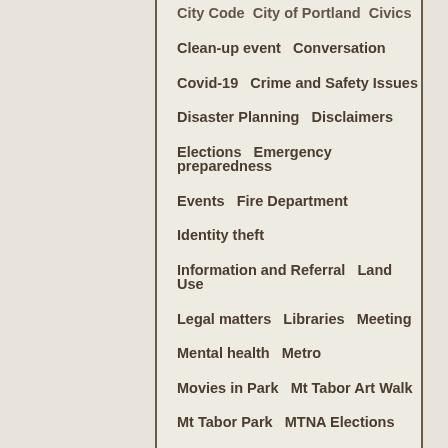City Code  City of Portland  Civics
Clean-up event  Conversation
Covid-19  Crime and Safety Issues
Disaster Planning  Disclaimers
Elections  Emergency preparedness
Events  Fire Department
Identity theft
Information and Referral  Land Use
Legal matters  Libraries  Meeting
Mental health  Metro
Movies in Park  Mt Tabor Art Walk
Mt Tabor Park  MTNA Elections
MTNA Information  MTNA Meetings
Music in Park
Neighborhood Clean Up
Neighborhood History